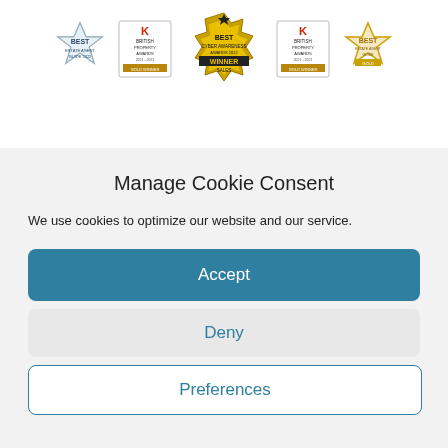[Figure (logo): Row of award logos and badges including 'BEST Estate Agent Guide 2022', British Property Awards, Best Cyber Awareness Awards 2022 Winner Sales, and Best Estate Agent Guide gold award badges]
Manage Cookie Consent
We use cookies to optimize our website and our service.
Accept
Deny
Preferences